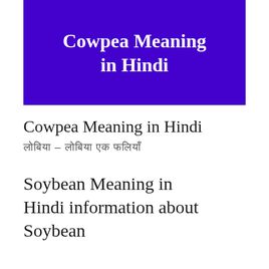[Figure (illustration): Purple/indigo banner with white bold text reading 'Cowpea Meaning in Hindi']
Cowpea Meaning in Hindi
लोबिया – लोबिया एक फलियाँ
Soybean Meaning in Hindi information about Soybean